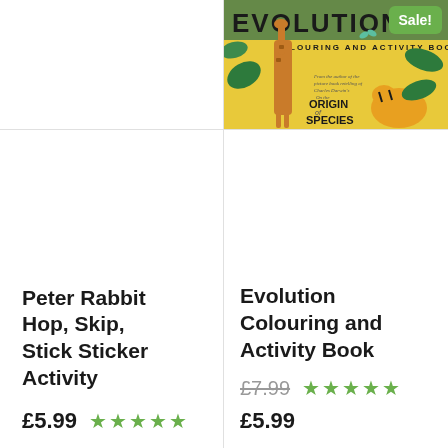[Figure (photo): Book cover for Evolution Colouring and Activity Book with Sale! badge, showing a giraffe, tiger, tropical leaves, butterflies, yellow background]
Peter Rabbit Hop, Skip, Stick Sticker Activity
£5.99 ★★★★★
Evolution Colouring and Activity Book
£7.99 (strikethrough) £5.99 ★★★★★